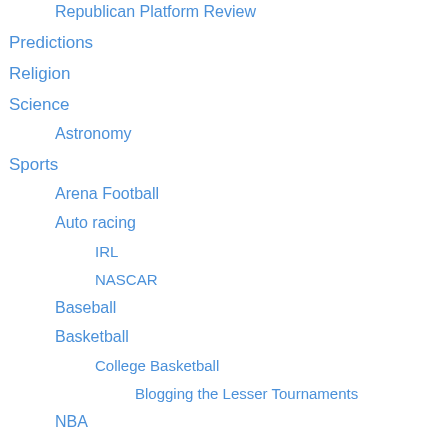Republican Platform Review
Predictions
Religion
Science
Astronomy
Sports
Arena Football
Auto racing
IRL
NASCAR
Baseball
Basketball
College Basketball
Blogging the Lesser Tournaments
NBA